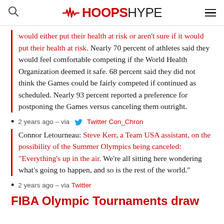HOOPSHYPE
would either put their health at risk or aren't sure if it would put their health at risk. Nearly 70 percent of athletes said they would feel comfortable competing if the World Health Organization deemed it safe. 68 percent said they did not think the Games could be fairly competed if continued as scheduled. Nearly 93 percent reported a preference for postponing the Games versus canceling them outright.
2 years ago – via Twitter Con_Chron
Connor Letourneau: Steve Kerr, a Team USA assistant, on the possibility of the Summer Olympics being canceled: "Everything's up in the air. We're all sitting here wondering what's going to happen, and so is the rest of the world."
2 years ago – via Twitter
FIBA Olympic Tournaments draw